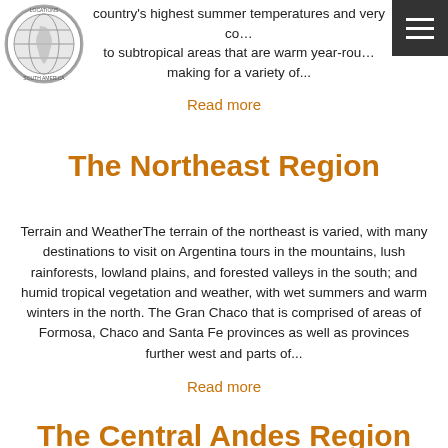[Figure (logo): Circular logo with globe and text 'South America Locations']
country's highest summer temperatures and very co… to subtropical areas that are warm year-rou… making for a variety of...
Read more
The Northeast Region
Terrain and WeatherThe terrain of the northeast is varied, with many destinations to visit on Argentina tours in the mountains, lush rainforests, lowland plains, and forested valleys in the south; and humid tropical vegetation and weather, with wet summers and warm winters in the north. The Gran Chaco that is comprised of areas of Formosa, Chaco and Santa Fe provinces as well as provinces further west and parts of...
Read more
The Central Andes Region